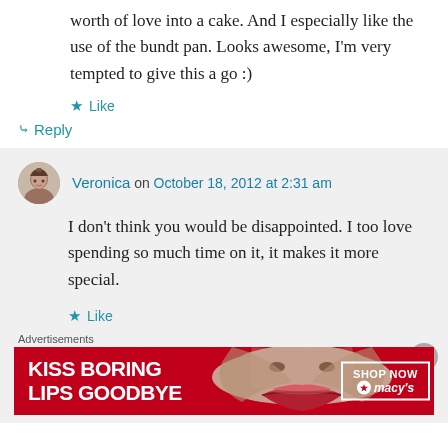worth of love into a cake. And I especially like the use of the bundt pan. Looks awesome, I'm very tempted to give this a go :)
★ Like
↳ Reply
Veronica on October 18, 2012 at 2:31 am
I don't think you would be disappointed. I too love spending so much time on it, it makes it more special.
★ Like
Advertisements
[Figure (photo): Macy's advertisement banner: 'KISS BORING LIPS GOODBYE' with a woman's face and lips, SHOP NOW button and Macy's star logo]